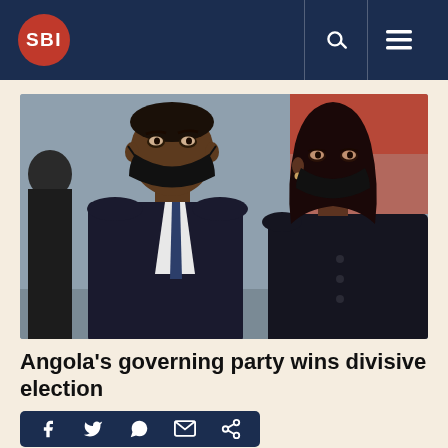SBI
[Figure (photo): Two people wearing black face masks, dressed in formal dark attire. The man on the left wears a dark suit with a tie, and the woman on the right wears dark clothing. They appear to be at an official event.]
Angola's governing party wins divisive election
[Figure (infographic): Social media sharing bar with icons for Facebook, Twitter, WhatsApp, Email, and a share/link icon, displayed on a dark navy background.]